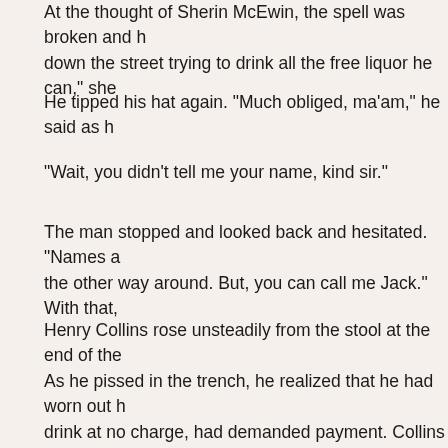At the thought of Sherin McEwin, the spell was broken and he r down the street trying to drink all the free liquor he can," she
He tipped his hat again. "Much obliged, ma'am," he said as h
"Wait, you didn't tell me your name, kind sir."
The man stopped and looked back and hesitated. "Names a the other way around. But, you can call me Jack." With that,
Henry Collins rose unsteadily from the stool at the end of the As he pissed in the trench, he realized that he had worn out h drink at no charge, had demanded payment. Collins had bee on the rest of the customers in the saloon. Oh well, he thoug anything other than pretend to be someone he was not. He h leave first thing in the morning. But first, he wanted to see if h sauntering around town. He had bumped into her a week or s found out she was the unmarried sister of the local blacksmit